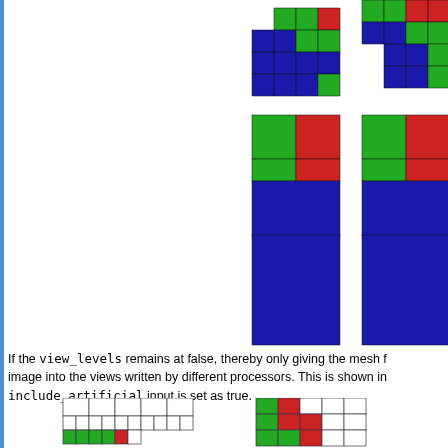[Figure (illustration): Grid of colored block diagrams showing mesh partitioning with green, red, and blue blocks arranged in various patterns across two rows of three columns each]
If the view_levels remains at false, thereby only giving the mesh f... image into the views written by different processors. This is shown in... include_artificial input is set as true.
[Figure (illustration): Bottom row of figures: left shows grid with partial green and red fill at bottom, right shows grid with green, red, and white cell pattern]